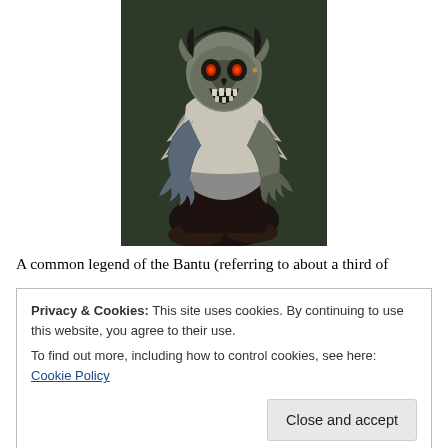[Figure (illustration): Fantasy digital art illustration of a goblin-like undead creature with a skeletal face, glowing red eyes, pointed ears, wearing tattered white clothing and dark pants with boots, standing in a hunched aggressive pose against a dark green background.]
A common legend of the Bantu (referring to about a third of
Privacy & Cookies: This site uses cookies. By continuing to use this website, you agree to their use.
To find out more, including how to control cookies, see here: Cookie Policy
Close and accept
preferably those that have died due to acts violence and live to